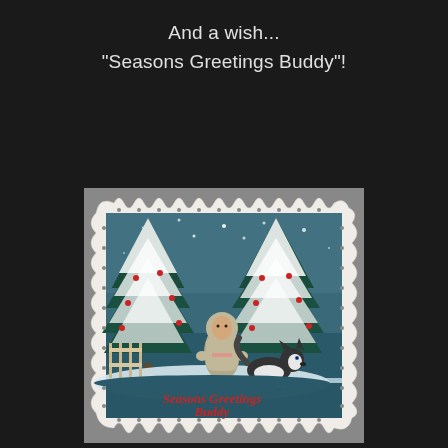And a wish...
"Seasons Greetings Buddy"!
[Figure (illustration): A decorative holiday greeting card styled as a postage stamp with scalloped white border on a grey background. The card depicts a winter scene with snow-covered evergreen trees, a person in an Inuit/Arctic parka coat standing next to a husky dog, with a fence and sled visible. Red berries dot the snowy trees. At the bottom of the card, cursive red text reads 'Seasons Greetings Buddy'.]